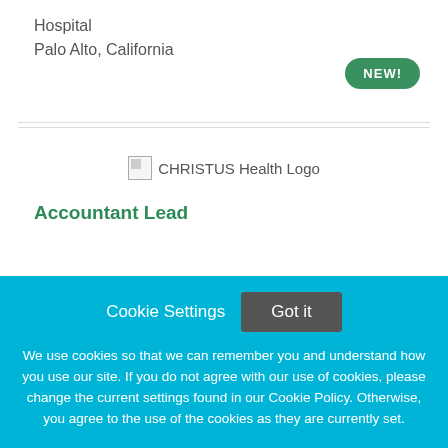Hospital
Palo Alto, California
[Figure (logo): CHRISTUS Health Logo placeholder image with broken image icon and alt text 'CHRISTUS Health Logo']
Accountant Lead
Cookie Settings  Got it
We use cookies so that we can remember you and understand how you use our site. If you do not agree with our use of cookies, please change the current settings found in our Cookie Policy. Otherwise, you agree to the use of the cookies as they are currently set.